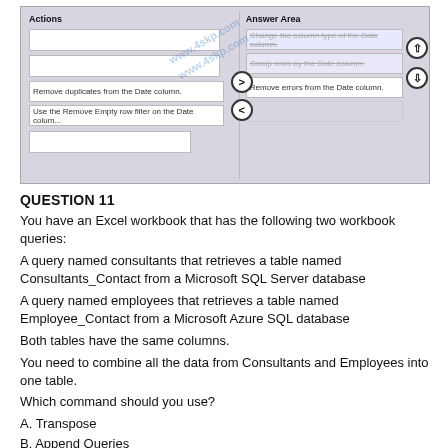[Figure (screenshot): A drag-and-drop UI showing Actions panel on the left with text boxes and Answer Area on the right. Items include: Remove duplicates from the Date column, Use the Remove Empty row filter on the Date column (Actions side); Change the column type of the Date column, Group rows by the Date column, Remove errors from the Date column (Answer Area side). Arrow buttons between panels for moving items.]
QUESTION 11
You have an Excel workbook that has the following two workbook queries:
A query named consultants that retrieves a table named Consultants_Contact from a Microsoft SQL Server database
A query named employees that retrieves a table named Employee_Contact from a Microsoft Azure SQL database
Both tables have the same columns.
You need to combine all the data from Consultants and Employees into one table.
Which command should you use?
A. Transpose
B. Append Queries
C. Merge Queries
D. Combine Binaries
Correct Answer: B
Append is similar to UNION ALL in T-SQL. http://radacad.com/append-vs-merge-in-power-bi-and-power-query